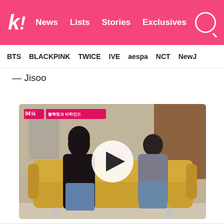k! News Lists Stories Exclusives
BTS BLACKPINK TWICE IVE aespa NCT NewJ
— Jisoo
[Figure (screenshot): Video thumbnail showing two women seated on a yellow sofa; one with long dark hair wearing a black top and jeans, the other with a dark bob wearing a grey shirt and jeans. A large circular play button overlay is in the center. A TV show banner is visible in the top-left corner of the video frame.]